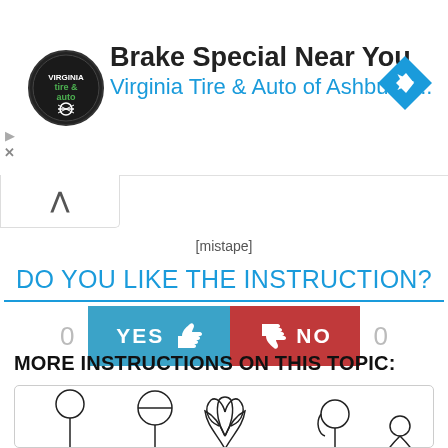[Figure (screenshot): Advertisement banner for 'Brake Special Near You' by Virginia Tire & Auto of Ashburn with logo and navigation arrow icon]
[mistape]
DO YOU LIKE THE INSTRUCTION?
[Figure (infographic): YES thumbs-up button (blue) and NO thumbs-down button (red) with vote counts of 0 on each side]
MORE INSTRUCTIONS ON THIS TOPIC:
[Figure (illustration): Step-by-step tulip drawing instructions showing progressive stages from simple circle on stem to full tulip flower]